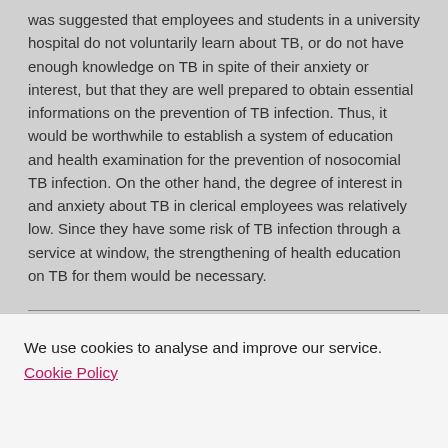was suggested that employees and students in a university hospital do not voluntarily learn about TB, or do not have enough knowledge on TB in spite of their anxiety or interest, but that they are well prepared to obtain essential informations on the prevention of TB infection. Thus, it would be worthwhile to establish a system of education and health examination for the prevention of nosocomial TB infection. On the other hand, the degree of interest in and anxiety about TB in clerical employees was relatively low. Since they have some risk of TB infection through a service at window, the strengthening of health education on TB for them would be necessary.
| Original language |  |
| English |  |
| Pages (from-to) |  |
We use cookies to analyse and improve our service. Cookie Policy